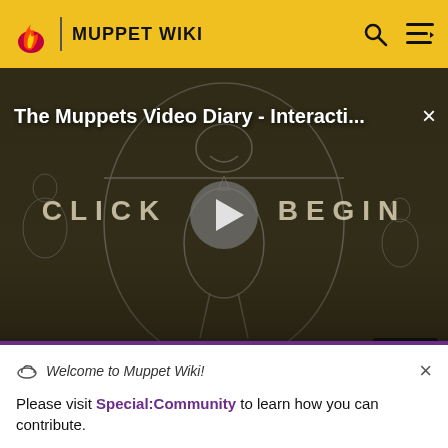MUPPET WIKI
[Figure (screenshot): Video player showing 'The Muppets Video Diary - Interacti...' with a sketch drawing of Kermit-like figure with wings in da Vinci pose, CLICK BEGIN text, play button, and NaN:NaN duration indicator]
Stay up to date on your fandom with carefully curated and timely Fandom newsletters.
Welcome to Muppet Wiki!
Please visit Special:Community to learn how you can contribute.